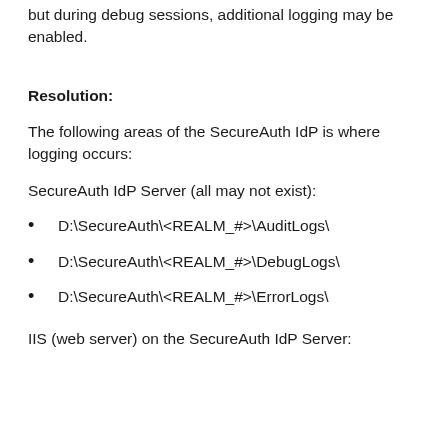but during debug sessions, additional logging may be enabled.
Resolution:
The following areas of the SecureAuth IdP is where logging occurs:
SecureAuth IdP Server (all may not exist):
D:\SecureAuth\<REALM_#>\AuditLogs\
D:\SecureAuth\<REALM_#>\DebugLogs\
D:\SecureAuth\<REALM_#>\ErrorLogs\
IIS (web server) on the SecureAuth IdP Server: